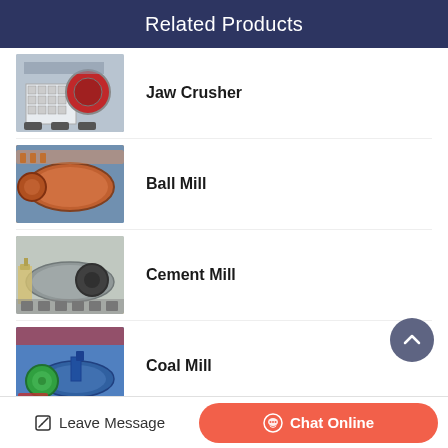Related Products
Jaw Crusher
Ball Mill
Cement Mill
Coal Mill
Leave Message | Chat Online